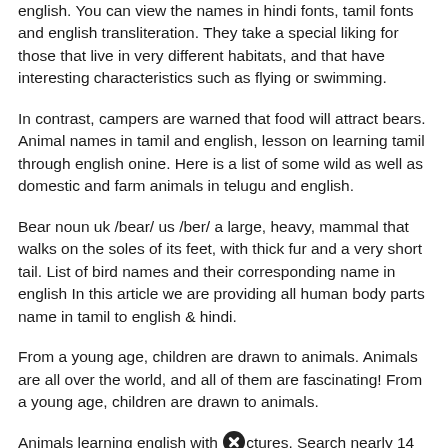english. You can view the names in hindi fonts, tamil fonts and english transliteration. They take a special liking for those that live in very different habitats, and that have interesting characteristics such as flying or swimming.
In contrast, campers are warned that food will attract bears. Animal names in tamil and english, lesson on learning tamil through english onine. Here is a list of some wild as well as domestic and farm animals in telugu and english.
Bear noun uk /bear/ us /ber/ a large, heavy, mammal that walks on the soles of its feet, with thick fur and a very short tail. List of bird names and their corresponding name in english In this article we are providing all human body parts name in tamil to english & hindi.
From a young age, children are drawn to animals. Animals are all over the world, and all of them are fascinating! From a young age, children are drawn to animals.
Animals learning english with [icon] ctures. Search nearly 14